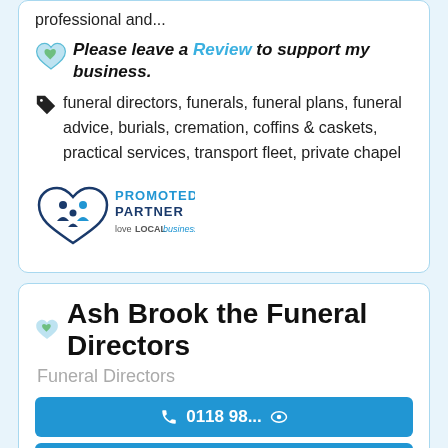professional and...
Please leave a Review to support my business.
funeral directors, funerals, funeral plans, funeral advice, burials, cremation, coffins & caskets, practical services, transport fleet, private chapel
[Figure (logo): Promoted Partner - love LOCAL business logo with heart and people shapes]
Ash Brook the Funeral Directors
Funeral Directors
0118 98...
Website